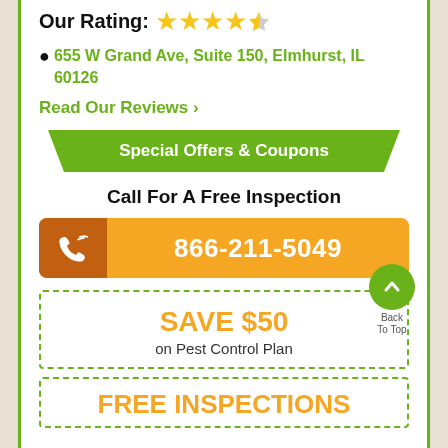Our Rating: ★★★★½
655 W Grand Ave, Suite 150, Elmhurst, IL 60126
Read Our Reviews ›
[Figure (infographic): Green ribbon banner with text 'Special Offers & Coupons']
Call For A Free Inspection
[Figure (infographic): Orange call button with phone icon and number 866-211-5049]
SAVE $50 on Pest Control Plan
Back To Top button (green circle with chevron up)
FREE INSPECTIONS